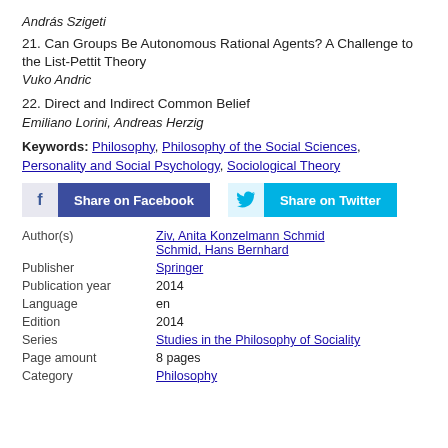András Szigeti
21. Can Groups Be Autonomous Rational Agents? A Challenge to the List-Pettit Theory
Vuko Andric
22. Direct and Indirect Common Belief
Emiliano Lorini, Andreas Herzig
Keywords: Philosophy, Philosophy of the Social Sciences, Personality and Social Psychology, Sociological Theory
[Figure (infographic): Share on Facebook and Share on Twitter buttons]
| Author(s) | Ziv, Anita Konzelmann Schmid, Hans Bernhard |
| Publisher | Springer |
| Publication year | 2014 |
| Language | en |
| Edition | 2014 |
| Series | Studies in the Philosophy of Sociality |
| Page amount | 8 pages |
| Category | Philosophy |